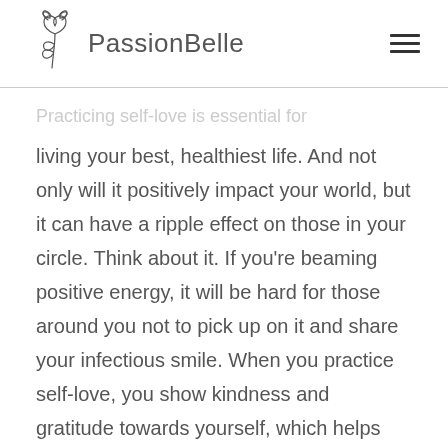PassionBelle
Practicing self-love is essential for living your best, healthiest life. And not only will it positively impact your world, but it can have a ripple effect on those in your circle. Think about it. If you’re beaming positive energy, it will be hard for those around you not to pick up on it and share your infectious smile. When you practice self-love, you show kindness and gratitude towards yourself, which helps you notice the good in others. And who